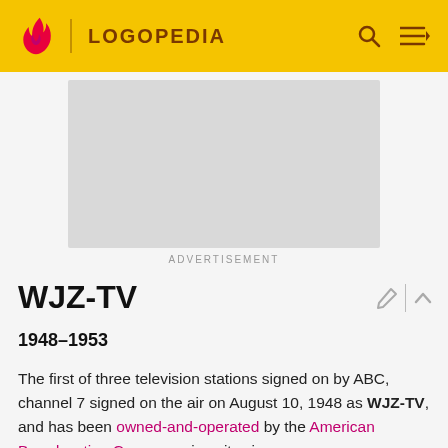LOGOPEDIA
[Figure (other): Advertisement placeholder (gray rectangle)]
ADVERTISEMENT
WJZ-TV
1948–1953
The first of three television stations signed on by ABC, channel 7 signed on the air on August 10, 1948 as WJZ-TV, and has been owned-and-operated by the American Broadcasting Company since its sign on.